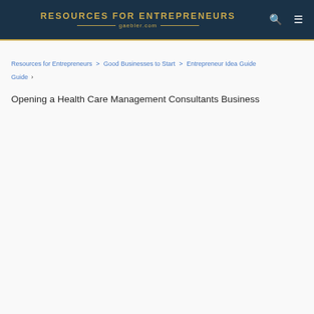RESOURCES FOR ENTREPRENEURS gaebler.com
Resources for Entrepreneurs > Good Businesses to Start > Entrepreneur Idea Guide ›
Opening a Health Care Management Consultants Business